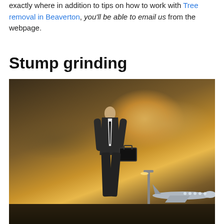exactly where in addition to tips on how to work with Tree removal in Beaverton, you'll be able to email us from the webpage.
Stump grinding
[Figure (photo): A man in a dark business suit holding a briefcase standing on a tarmac with dramatic cloudy sky and golden glow in background, with a private jet visible on the right side]